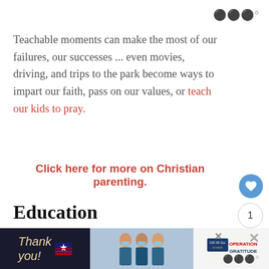Teachable moments can make the most of our failures, our successes ... even movies, driving, and trips to the park become ways to impart our faith, pass on our values, or teach our kids to pray.
Click here for more on Christian parenting.
Education
Chapman introduces readers briefly to a variety of educational choices that parents have. I...because many parents take the back seat when it comes to their kids education, but like me and with...
[Figure (photo): Advertisement banner at the bottom: 'Thank you' text with American flag star graphic on left, photo of medical workers in masks holding books in middle, Operation Gratitude logo on right.]